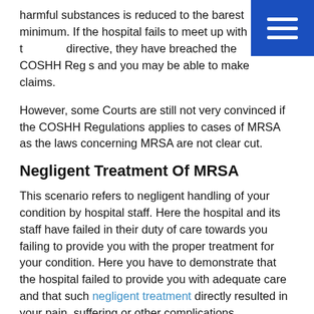harmful substances is reduced to the barest minimum. If the hospital fails to meet up with the directive, they have breached the COSHH Regulations and you may be able to make claims.
However, some Courts are still not very convinced if the COSHH Regulations applies to cases of MRSA as the laws concerning MRSA are not clear cut.
Negligent Treatment Of MRSA
This scenario refers to negligent handling of your condition by hospital staff. Here the hospital and its staff have failed in their duty of care towards you failing to provide you with the proper treatment for your condition. Here you have to demonstrate that the hospital failed to provide you with adequate care and that such negligent treatment directly resulted in your pain, suffering or other complications.
Negligent Acquisition Of MRSA